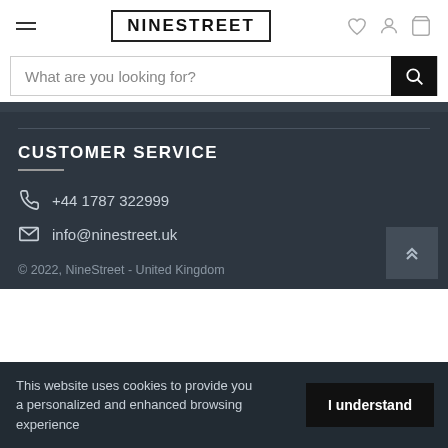NINESTREET
What are you looking for?
CUSTOMER SERVICE
+44 1787 322999
info@ninestreet.uk
© 2022, NineStreet - United Kingdom
This website uses cookies to provide you a personalized and enhanced browsing experience
I understand